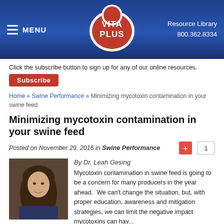MENU | VITA PLUS | Resource Library 800.362.8334
Click the subscribe button to sign up for any of our online resources.
Subscribe
Home » Swine Performance » Minimizing mycotoxin contamination in your swine feed
Minimizing mycotoxin contamination in your swine feed
Posted on November 29, 2016 in Swine Performance
[Figure (photo): Headshot photo of Dr. Leah Gesing, a woman with brown hair smiling]
By Dr. Leah Gesing
Mycotoxin contamination in swine feed is going to be a concern for many producers in the year ahead.  We can't change the situation, but, with proper education, awareness and mitigation strategies, we can limit the negative impact mycotoxins can have...